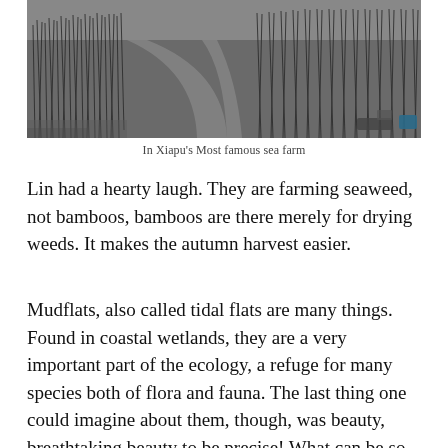[Figure (photo): Aerial or elevated view of a sea farm at Xiapu showing rows of bamboo poles in tidal mudflats with water channels between them, in grayscale tones. Boats visible in the lower right corner.]
In Xiapu's Most famous sea farm
Lin had a hearty laugh. They are farming seaweed, not bamboos, bamboos are there merely for drying weeds. It makes the autumn harvest easier.
Mudflats, also called tidal flats are many things. Found in coastal wetlands, they are a very important part of the ecology, a refuge for many species both of flora and fauna. The last thing one could imagine about them, though, was beauty, breathtaking beauty to be precise! What can be so beautiful about long expanses of mud, just mud, the boy had thought